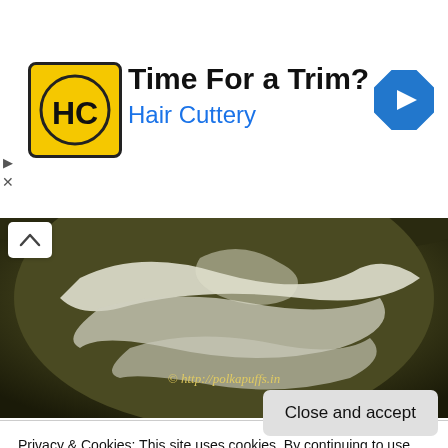[Figure (advertisement): Hair Cuttery ad banner with yellow logo showing HC letters, headline 'Time For a Trim?' and blue subtext 'Hair Cuttery', blue diamond arrow icon on right]
[Figure (photo): Close-up photo of a dark bowl with white creamy/powdery substance being mixed, with watermark http://polkapuffs.in]
Privacy & Cookies: This site uses cookies. By continuing to use this website, you agree to their use.
To find out more, including how to control cookies, see here: Cookie Policy
Close and accept